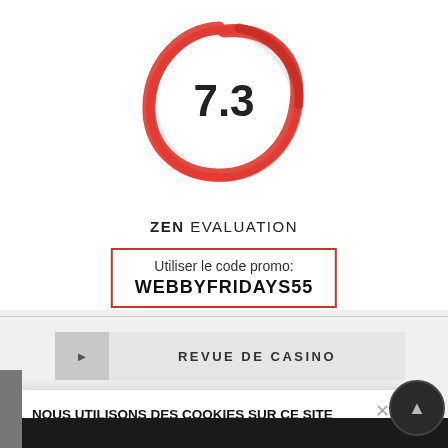[Figure (other): Red circular score gauge showing 7.3 in the center, hand-drawn style red circle/ring]
ZEN EVALUATION
Utiliser le code promo: WEBBYFRIDAYS55
REVUE DE CASINO
NOUS UTILISONS DES COOKIES SUR CE SITE POUR AMÉLIORER VOTRE EXPÉRIENCE. En cliquant sur un lien du site, vous acceptez notre politique en matière de cookies.
PLUS D'INFOS
AUTORISER